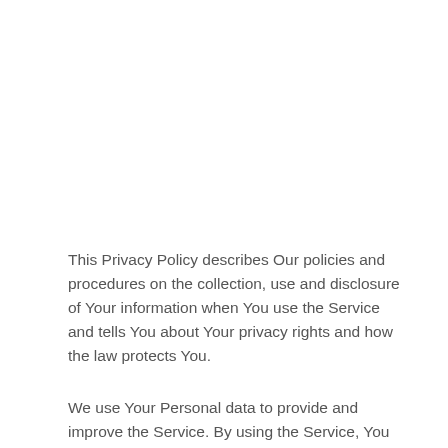This Privacy Policy describes Our policies and procedures on the collection, use and disclosure of Your information when You use the Service and tells You about Your privacy rights and how the law protects You.
We use Your Personal data to provide and improve the Service. By using the Service, You